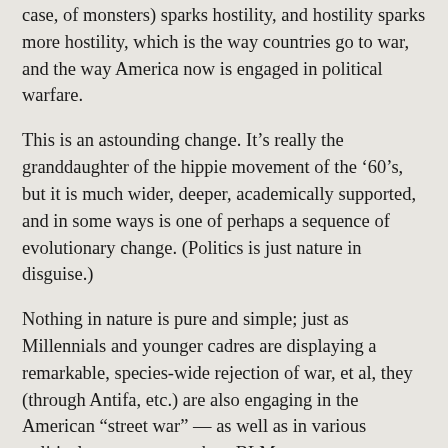case, of monsters) sparks hostility, and hostility sparks more hostility, which is the way countries go to war, and the way America now is engaged in political warfare.
This is an astounding change. It’s really the granddaughter of the hippie movement of the ’60’s, but it is much wider, deeper, academically supported, and in some ways is one of perhaps a sequence of evolutionary change. (Politics is just nature in disguise.)
Nothing in nature is pure and simple; just as Millennials and younger cadres are displaying a remarkable, species-wide rejection of war, et al, they (through Antifa, etc.) are also engaging in the American “street war” — as well as in various political movements such as BLM.